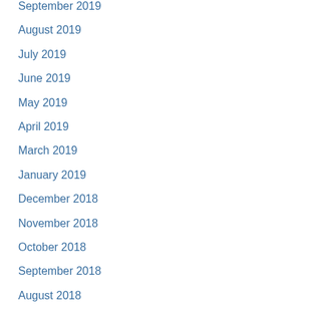September 2019
August 2019
July 2019
June 2019
May 2019
April 2019
March 2019
January 2019
December 2018
November 2018
October 2018
September 2018
August 2018
July 2018
June 2018